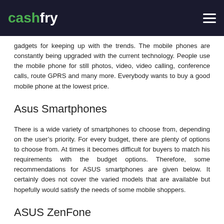cashfry
gadgets for keeping up with the trends. The mobile phones are constantly being upgraded with the current technology. People use the mobile phone for still photos, video, video calling, conference calls, route GPRS and many more. Everybody wants to buy a good mobile phone at the lowest price.
Asus Smartphones
There is a wide variety of smartphones to choose from, depending on the user’s priority. For every budget, there are plenty of options to choose from. At times it becomes difficult for buyers to match his requirements with the budget options. Therefore, some recommendations for ASUS smartphones are given below. It certainly does not cover the varied models that are available but hopefully would satisfy the needs of some mobile shoppers.
ASUS ZenFone
Asus ZenFone is a series of Android smartphones produced by Asus. They design, produce and market themselves on their own. Their manufacturing facilities are in Taiwan, mainland China, Mexico and the Czech Republic.
Asus introduced the third generation Zenfone service in May 2016. It has an aluminum frame body. The smartphone has a fingerprint sensor. Moreover, it has 2.5D Corning Gorilla glass on the front and rear panels. Thus it is